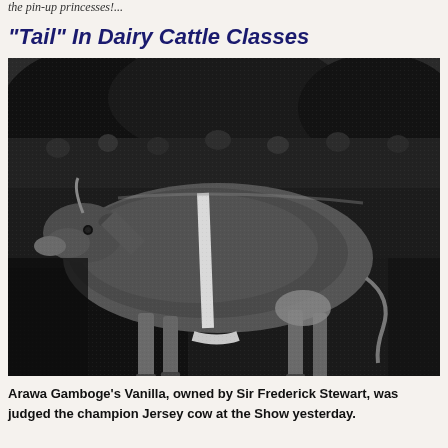the pin-up princesses!...
"Tail" In Dairy Cattle Classes
[Figure (photo): Black and white newspaper photograph of a Jersey dairy cow (Arawa Gamboge's Vanilla) standing in a field, with spectators visible in the background. The cow is shown in profile with a white sash or ribbon around its body.]
Arawa Gamboge's Vanilla, owned by Sir Frederick Stewart, was judged the champion Jersey cow at the Show yesterday.